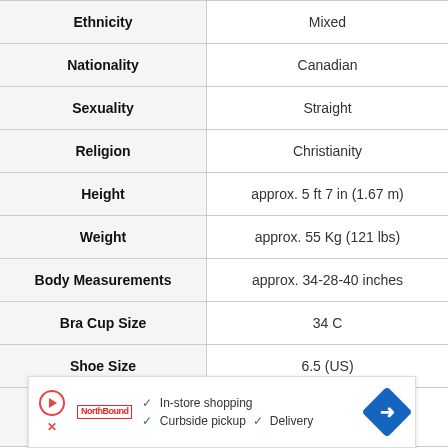| Attribute | Value |
| --- | --- |
| Ethnicity | Mixed |
| Nationality | Canadian |
| Sexuality | Straight |
| Religion | Christianity |
| Height | approx. 5 ft 7 in (1.67 m) |
| Weight | approx. 55 Kg (121 lbs) |
| Body Measurements | approx. 34-28-40 inches |
| Bra Cup Size | 34 C |
| Shoe Size | 6.5 (US) |
| Relationship/Dating | Single |